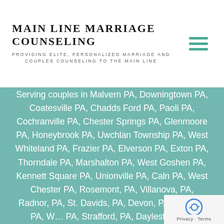Main Line Marriage Counseling
Providing Elite, Personalized Marriage and Couples Counseling to the Main Line
Serving couples in Malvern PA, Downingtown PA, Coatesville PA, Chadds Ford PA, Paoli PA, Cochranville PA, Chester Springs PA, Glenmoore PA, Honeybrook PA, Uwchlan Township PA, West Whiteland PA, Frazier PA, Elverson PA, Exton PA, Thorndale PA, Marshalton PA, West Goshen PA, Kennett Square PA, Unionville PA, Caln PA, West Chester PA, Rosemont, PA, Villanova, PA, Radnor, PA, St. Davids, PA, Devon, PA, Berwyn, PA, W... PA, Strafford, PA, Daylesford, PA